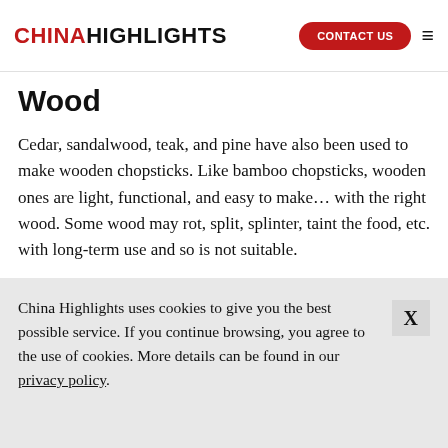CHINAHIGHLIGHTS — CONTACT US
Wood
Cedar, sandalwood, teak, and pine have also been used to make wooden chopsticks. Like bamboo chopsticks, wooden ones are light, functional, and easy to make… with the right wood. Some wood may rot, split, splinter, taint the food, etc. with long-term use and so is not suitable.
China Highlights uses cookies to give you the best possible service. If you continue browsing, you agree to the use of cookies. More details can be found in our privacy policy.